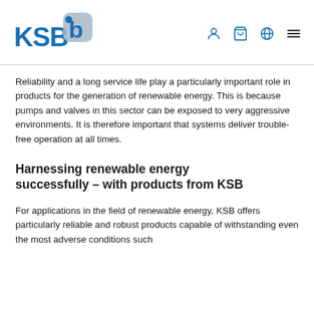KSB logo and navigation icons
Reliability and a long service life play a particularly important role in products for the generation of renewable energy. This is because pumps and valves in this sector can be exposed to very aggressive environments. It is therefore important that systems deliver trouble-free operation at all times.
Harnessing renewable energy successfully – with products from KSB
For applications in the field of renewable energy, KSB offers particularly reliable and robust products capable of withstanding even the most adverse conditions such as climate extremes. This is in keeping...